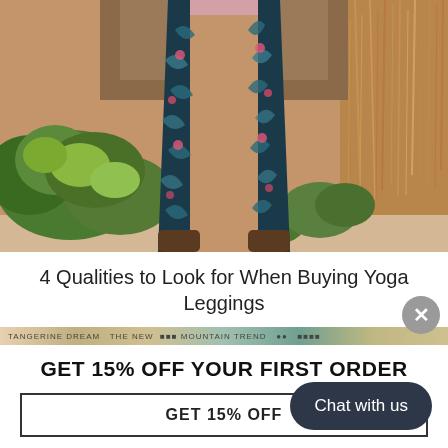[Figure (photo): Person wearing tropical print dark teal leggings with leaf and floral pattern, standing outdoors among wild shrubs and golden grass. View from waist down showing legs and sandy ground.]
4 Qualities to Look for When Buying Yoga Leggings
[Figure (screenshot): Horizontal strip showing small thumbnails and text: TANGERINE DREAM THE NEW NUMBER 1 MOUNTAIN TREND with faces and product images]
GET 15% OFF YOUR FIRST ORDER
GET 15% OFF
Chat with us